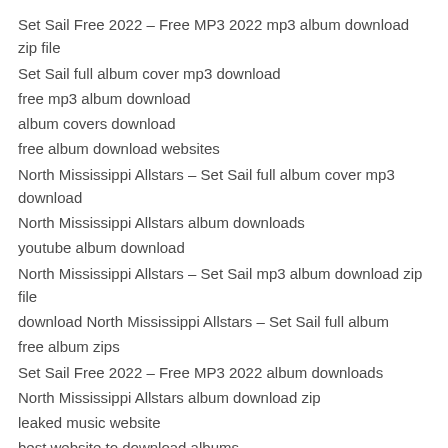Set Sail Free 2022 – Free MP3 2022 mp3 album download zip file
Set Sail full album cover mp3 download
free mp3 album download
album covers download
free album download websites
North Mississippi Allstars – Set Sail full album cover mp3 download
North Mississippi Allstars album downloads
youtube album download
North Mississippi Allstars – Set Sail mp3 album download zip file
download North Mississippi Allstars – Set Sail full album
free album zips
Set Sail Free 2022 – Free MP3 2022 album downloads
North Mississippi Allstars album download zip
leaked music website
best website to download albums
free North Mississippi Allstars album downloads zip
North Mississippi Allstars – Set Sail album download
Set Sail album download